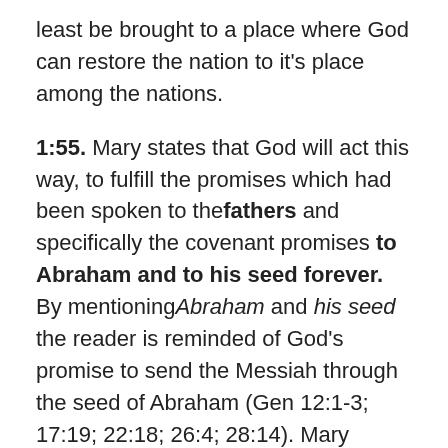least be brought to a place where God can restore the nation to it's place among the nations.
1:55. Mary states that God will act this way, to fulfill the promises which had been spoken to the fathers and specifically the covenant promises to Abraham and to his seed forever. By mentioning Abraham and his seed the reader is reminded of God's promise to send the Messiah through the seed of Abraham (Gen 12:1-3; 17:19; 22:18; 26:4; 28:14). Mary believes that God will fulfill this covenant promise through the baby in her womb.
Mary's song ends abruptly, and the narrative continues in verse 56. By ending with a statement